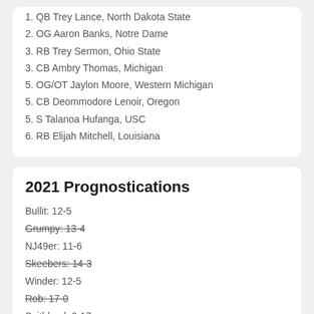1. QB Trey Lance, North Dakota State
2. OG Aaron Banks, Notre Dame
3. RB Trey Sermon, Ohio State
3. CB Ambry Thomas, Michigan
5. OG/OT Jaylon Moore, Western Michigan
5. CB Deommodore Lenoir, Oregon
5. S Talanoa Hufanga, USC
6. RB Elijah Mitchell, Louisiana
2021 Prognostications
Bullit: 12-5
Grumpy: 13-4
NJ49er: 11-6
Skeebers: 14-3
Winder: 12-5
Rob: 17-0
Spitblood: 0-17